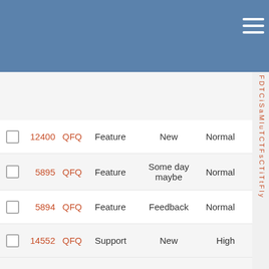| # | ID | Project | Type | Status | Priority |
| --- | --- | --- | --- | --- | --- |
|  | 12400 | QFQ | Feature | New | Normal |
|  | 5895 | QFQ | Feature | Some day maybe | Normal |
|  | 5894 | QFQ | Feature | Feedback | Normal |
|  | 14552 | QFQ | Support | New | High |
|  | 3895 | QFQ | Bug | Some day maybe | Normal |